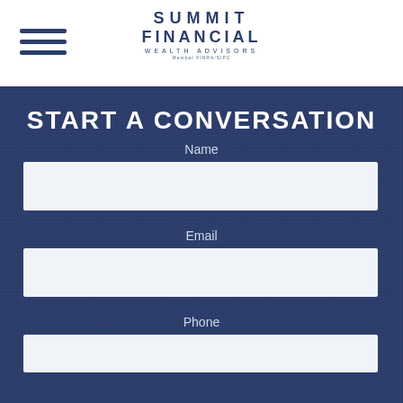Summit Financial Wealth Advisors
START A CONVERSATION
Name
Email
Phone